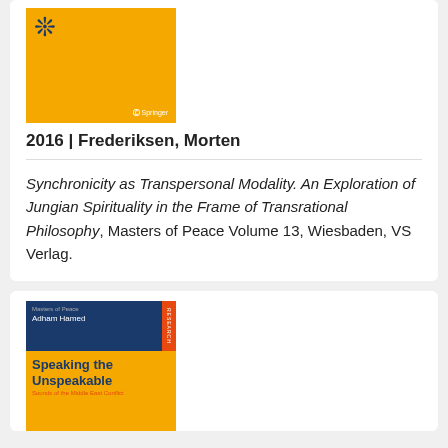[Figure (illustration): Book cover: yellow Springer book with snowflake/mandala symbol in dark blue, Springer logo bottom right]
2016 | Frederiksen, Morten
Synchronicity as Transpersonal Modality. An Exploration of Jungian Spirituality in the Frame of Transrational Philosophy, Masters of Peace Volume 13, Wiesbaden, VS Verlag.
[Figure (illustration): Book cover: Speaking the Unspeakable - Sounds of the Middle East Conflict, by Adham Hamed, Masters of Peace series, Springer Research]